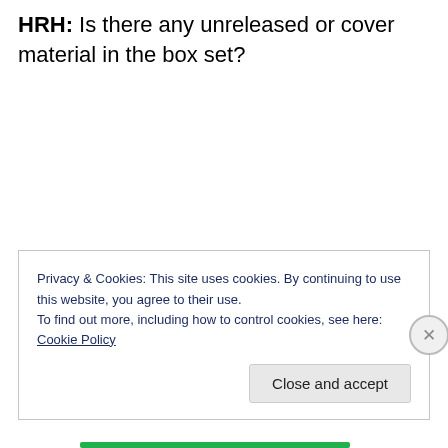HRH: Is there any unreleased or cover material in the box set?
Privacy & Cookies: This site uses cookies. By continuing to use this website, you agree to their use.
To find out more, including how to control cookies, see here: Cookie Policy